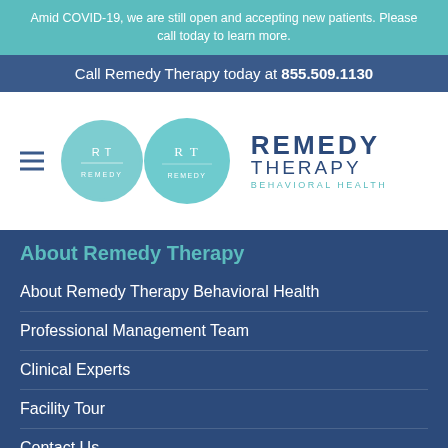Amid COVID-19, we are still open and accepting new patients. Please call today to learn more.
Call Remedy Therapy today at 855.509.1130
[Figure (logo): Remedy Therapy Behavioral Health logo with teal circle containing RT initials and dark blue text]
About Remedy Therapy
About Remedy Therapy Behavioral Health
Professional Management Team
Clinical Experts
Facility Tour
Contact Us
Chat now